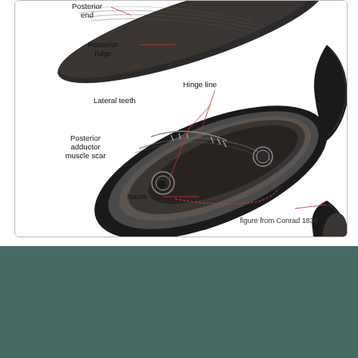[Figure (illustration): Anatomical diagram of a freshwater mussel (bivalve) showing internal structures with labeled parts: Posterior end, Left valve, Right valve, Interdentum, Anterior adductor muscle scar, Hinge line, Lateral teeth, Pseudocardinal teeth, Posterior adductor muscle scar, Pallial line, Nacre, Ventral margin. Caption: figure from Conrad 1836.]
Home
Contact
About